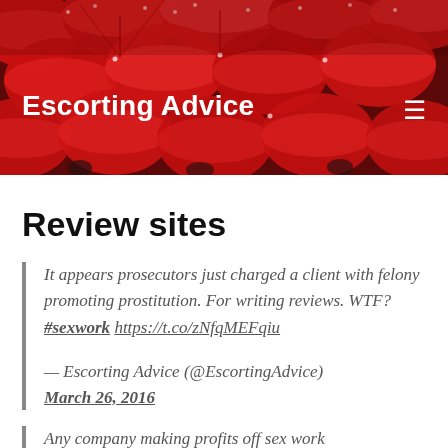[Figure (photo): Header image showing many red umbrellas seen from above, with people carrying them. A navigation bar overlays the image.]
Escorting Advice
Review sites
It appears prosecutors just charged a client with felony promoting prostitution. For writing reviews. WTF? #sexwork https://t.co/zNfqMEFqiu
— Escorting Advice (@EscortingAdvice) March 26, 2016
Any company making profits off sex work